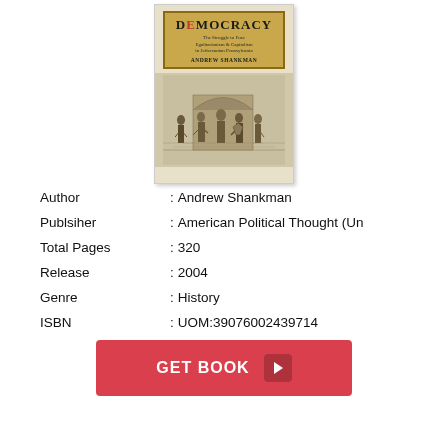[Figure (illustration): Book cover of 'Democracy' by Andrew Shankman with subtitle about the struggle between egalitarianism and capitalism in Jeffersonian Pennsylvania, featuring an engraving of historical figures]
Author : Andrew Shankman
Publsiher : American Political Thought (Un
Total Pages : 320
Release : 2004
Genre : History
ISBN : UOM:39076002439714
GET BOOK